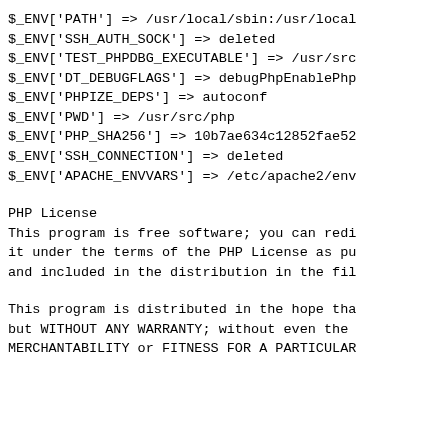$_ENV['PATH'] => /usr/local/sbin:/usr/local
$_ENV['SSH_AUTH_SOCK'] => deleted
$_ENV['TEST_PHPDBG_EXECUTABLE'] => /usr/src
$_ENV['DT_DEBUGFLAGS'] => debugPhpEnablePhp
$_ENV['PHPIZE_DEPS'] => autoconf
$_ENV['PWD'] => /usr/src/php
$_ENV['PHP_SHA256'] => 10b7ae634c12852fae52
$_ENV['SSH_CONNECTION'] => deleted
$_ENV['APACHE_ENVVARS'] => /etc/apache2/env
PHP License
This program is free software; you can redi it under the terms of the PHP License as pu and included in the distribution in the fil
This program is distributed in the hope tha but WITHOUT ANY WARRANTY; without even the MERCHANTABILITY or FITNESS FOR A PARTICULAR